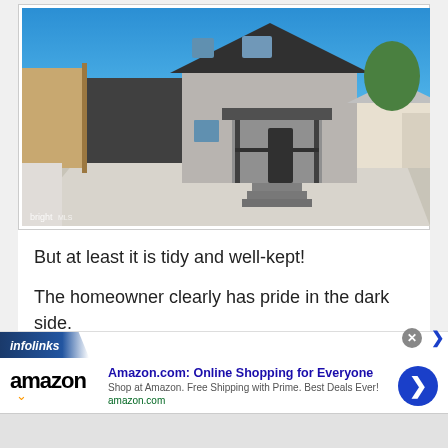[Figure (photo): Exterior photo of a two-story gray house with a large concrete driveway, wooden fence on the left, black railings on front steps, and neighboring houses visible to the right. Blue sky background. Bright MLS watermark in lower left.]
But at least it is tidy and well-kept!
The homeowner clearly has pride in the dark side.
[Figure (screenshot): Infolinks ad banner for Amazon.com: Online Shopping for Everyone. Shows Amazon logo with smile, ad title in blue, description text 'Shop at Amazon. Free Shipping with Prime. Best Deals Ever!' and amazon.com URL in green. Blue arrow button on right. Close X button and expand arrow at top right.]